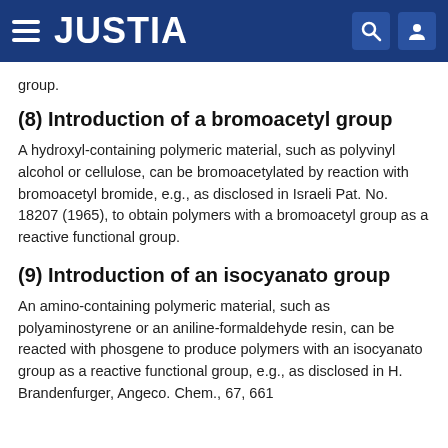JUSTIA
group.
(8) Introduction of a bromoacetyl group
A hydroxyl-containing polymeric material, such as polyvinyl alcohol or cellulose, can be bromoacetylated by reaction with bromoacetyl bromide, e.g., as disclosed in Israeli Pat. No. 18207 (1965), to obtain polymers with a bromoacetyl group as a reactive functional group.
(9) Introduction of an isocyanato group
An amino-containing polymeric material, such as polyaminostyrene or an aniline-formaldehyde resin, can be reacted with phosgene to produce polymers with an isocyanato group as a reactive functional group, e.g., as disclosed in H. Brandenfurger, Angeco. Chem., 67, 661